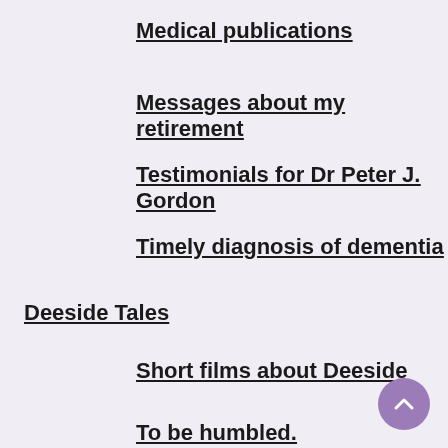Medical publications
Messages about my retirement
Testimonials for Dr Peter J. Gordon
Timely diagnosis of dementia
Deeside Tales
Short films about Deeside
To be humbled.
Films made by Peter
A maker of beautiful books
The Scout Troop at Methink...